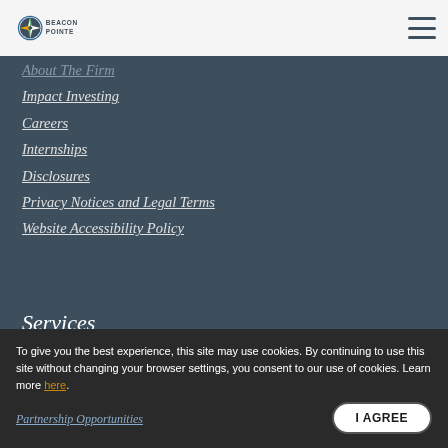[Figure (logo): Beacon Pointe logo with compass icon]
About The Firm
Impact Investing
Careers
Internships
Disclosures
Privacy Notices and Legal Terms
Website Accessibility Policy
Services
To give you the best experience, this site may use cookies. By continuing to use this site without changing your browser settings, you consent to our use of cookies. Learn more here.
Partnership Opportunities